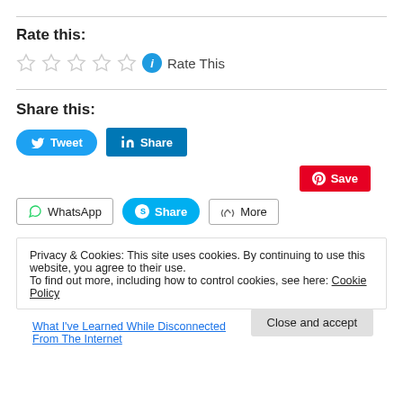Rate this:
[Figure (other): Five empty star rating icons followed by an info icon and 'Rate This' text]
Share this:
[Figure (infographic): Social sharing buttons: Tweet (Twitter), Share (LinkedIn), Save (Pinterest), WhatsApp, Share (Skype), More]
Privacy & Cookies: This site uses cookies. By continuing to use this website, you agree to their use.
To find out more, including how to control cookies, see here: Cookie Policy
Close and accept
What I've Learned While Disconnected From The Internet